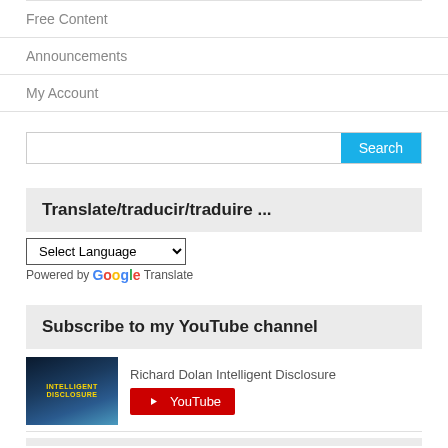Free Content
Announcements
My Account
[Figure (screenshot): Search bar with text input and blue Search button]
Translate/traducir/traduire ...
[Figure (screenshot): Language selector dropdown showing Select Language with Google Translate branding]
Subscribe to my YouTube channel
[Figure (screenshot): YouTube widget showing Richard Dolan Intelligent Disclosure thumbnail and YouTube subscribe button]